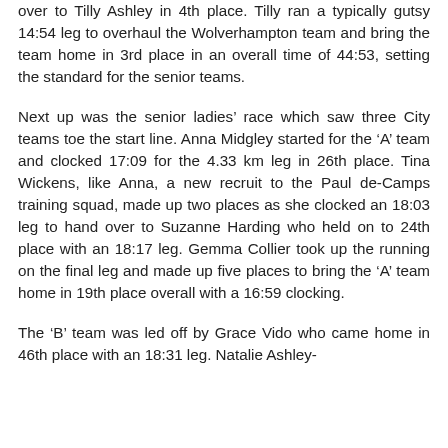over to Tilly Ashley in 4th place. Tilly ran a typically gutsy 14:54 leg to overhaul the Wolverhampton team and bring the team home in 3rd place in an overall time of 44:53, setting the standard for the senior teams.
Next up was the senior ladies' race which saw three City teams toe the start line. Anna Midgley started for the 'A' team and clocked 17:09 for the 4.33 km leg in 26th place. Tina Wickens, like Anna, a new recruit to the Paul de-Camps training squad, made up two places as she clocked an 18:03 leg to hand over to Suzanne Harding who held on to 24th place with an 18:17 leg. Gemma Collier took up the running on the final leg and made up five places to bring the 'A' team home in 19th place overall with a 16:59 clocking.
The 'B' team was led off by Grace Vido who came home in 46th place with an 18:31 leg. Natalie Ashley-